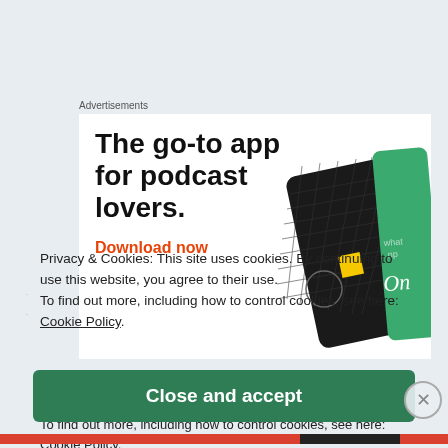Advertisements
[Figure (illustration): Advertisement for a podcast app showing bold headline 'The go-to app for podcast lovers.' with 'Download now' in orange-red, and a black card with yellow square and green card illustration on the right.]
Privacy & Cookies: This site uses cookies. By continuing to use this website, you agree to their use.
To find out more, including how to control cookies, see here: Cookie Policy.
Close and accept